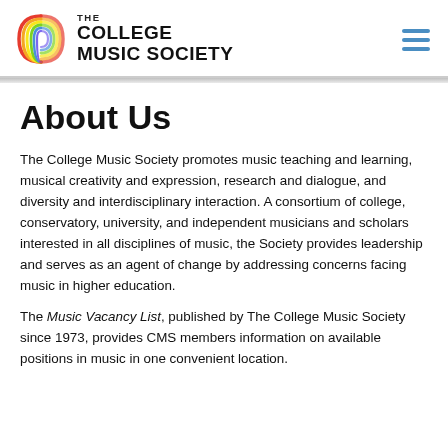[Figure (logo): The College Music Society logo with rainbow/wave icon and text]
About Us
The College Music Society promotes music teaching and learning, musical creativity and expression, research and dialogue, and diversity and interdisciplinary interaction. A consortium of college, conservatory, university, and independent musicians and scholars interested in all disciplines of music, the Society provides leadership and serves as an agent of change by addressing concerns facing music in higher education.
The Music Vacancy List, published by The College Music Society since 1973, provides CMS members information on available positions in music in one convenient location.